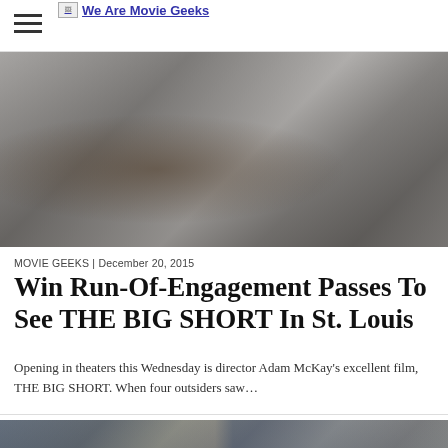We Are Movie Geeks
[Figure (photo): Scene from The Big Short movie showing men in suits around a dark round conference table in a modern office]
MOVIE GEEKS | December 20, 2015
Win Run-Of-Engagement Passes To See THE BIG SHORT In St. Louis
Opening in theaters this Wednesday is director Adam McKay's excellent film, THE BIG SHORT. When four outsiders saw...
[Figure (photo): Another scene from The Big Short movie showing several men in a group, appears to be a work or office setting]